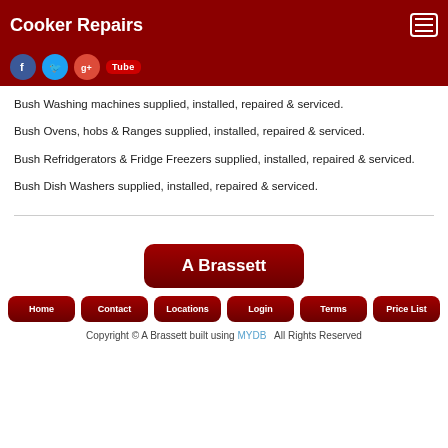Cooker Repairs
[Figure (other): Social media icons: Facebook, Twitter, Google+, YouTube]
Bush Washing machines supplied, installed, repaired & serviced.
Bush Ovens, hobs & Ranges supplied, installed, repaired & serviced.
Bush Refridgerators & Fridge Freezers supplied, installed, repaired & serviced.
Bush Dish Washers supplied, installed, repaired & serviced.
A Brassett
Copyright © A Brassett built using MYDB  All Rights Reserved